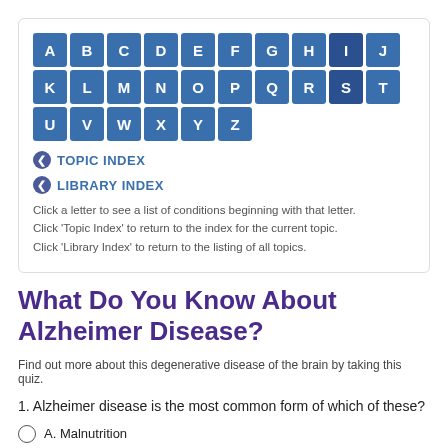[Figure (infographic): Alphabet navigation grid with letters A-Z in blue tiles]
TOPIC INDEX
LIBRARY INDEX
Click a letter to see a list of conditions beginning with that letter.
Click 'Topic Index' to return to the index for the current topic.
Click 'Library Index' to return to the listing of all topics.
What Do You Know About Alzheimer Disease?
Find out more about this degenerative disease of the brain by taking this quiz.
1. Alzheimer disease is the most common form of which of these?
A. Malnutrition